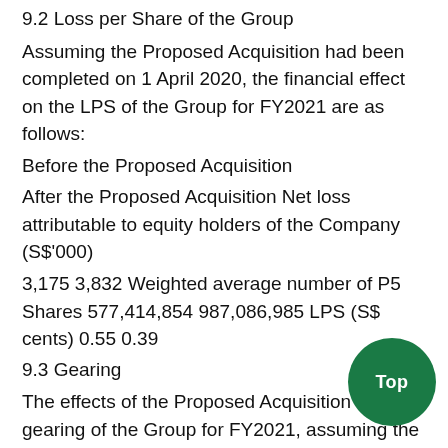9.2 Loss per Share of the Group
Assuming the Proposed Acquisition had been completed on 1 April 2020, the financial effect on the LPS of the Group for FY2021 are as follows:
Before the Proposed Acquisition
After the Proposed Acquisition Net loss attributable to equity holders of the Company (S$'000)
3,175 3,832 Weighted average number of P5 Shares 577,414,854 987,086,985 LPS (S$ cents) 0.55 0.39
9.3 Gearing
The effects of the Proposed Acquisition on the gearing of the Group for FY2021, assuming the Proposed Acquisition had been effected at the end of FY2021, are as follows: